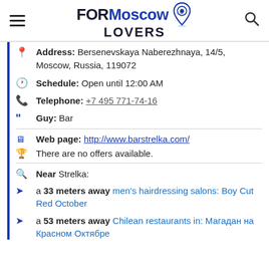FOR Moscow LOVERS
Address: Bersenevskaya Naberezhnaya, 14/5, Moscow, Russia, 119072
Schedule: Open until 12:00 AM
Telephone: +7 495 771-74-16
Guy: Bar
Web page: http://www.barstrelka.com/
There are no offers available.
Near Strelka:
a 33 meters away men's hairdressing salons: Boy Cut Red October
a 53 meters away Chilean restaurants in: Магадан на Красном Октябре